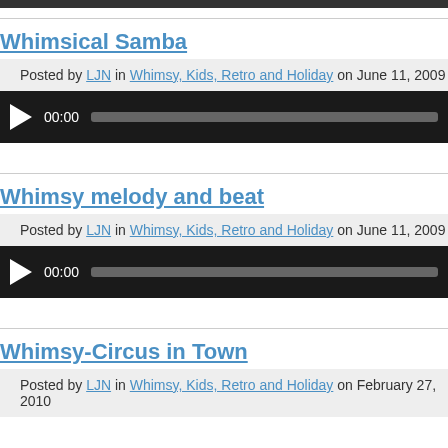Whimsical Samba
Posted by LJN in Whimsy, Kids, Retro and Holiday on June 11, 2009
[Figure (other): Audio player widget with play button, 00:00 timestamp, and progress bar on dark background]
Whimsy melody and beat
Posted by LJN in Whimsy, Kids, Retro and Holiday on June 11, 2009
[Figure (other): Audio player widget with play button, 00:00 timestamp, and progress bar on dark background]
Whimsy-Circus in Town
Posted by LJN in Whimsy, Kids, Retro and Holiday on February 27, 2010